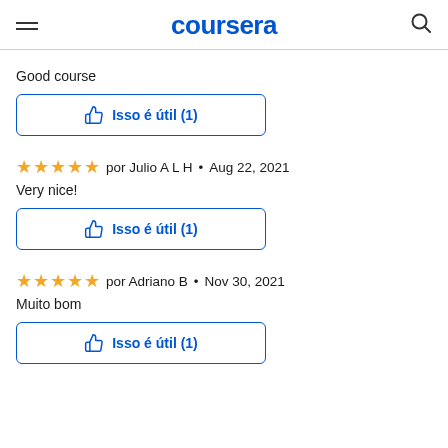coursera
Good course
Isso é útil (1)
★★★★★  por Julio A L H  •  Aug 22, 2021
Very nice!
Isso é útil (1)
★★★★★  por Adriano B  •  Nov 30, 2021
Muito bom
Isso é útil (1)